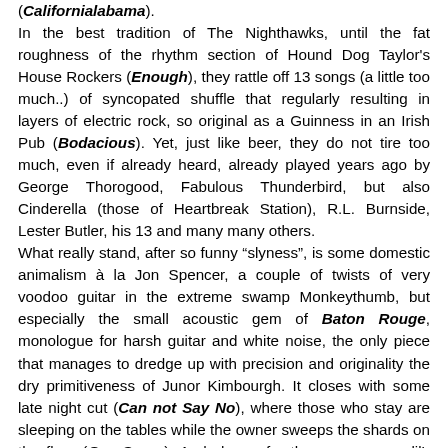(​Californialabama). In the best tradition of The Nighthawks, until the fat roughness of the rhythm section of Hound Dog Taylor’s House Rockers (Enough), they rattle off 13 songs (a little too much..) of syncopated shuffle that regularly resulting in layers of electric rock, so original as a Guinness in an Irish Pub (Bodacious). Yet, just like beer, they do not tire too much, even if already heard, already played years ago by George Thorogood, Fabulous Thunderbird, but also Cinderella (those of Heartbreak Station), R.L. Burnside, Lester Butler, his 13 and many many others. What really stand, after so funny “slyness”, is some domestic animalism à la Jon Spencer, a couple of twists of very voodoo guitar in the extreme swamp Monkeythumb, but especially the small acoustic gem of Baton Rouge, monologue for harsh guitar and white noise, the only piece that manages to dredge up with precision and originality the dry primitiveness of Junor Kimbourgh. It closes with some late night cut (Can not Say No), where those who stay are sleeping on the tables while the owner sweeps the shards on the floor (Our Curse). And shame for the unnecessary lil’-soft-west-coast-classic-rock-ballad that is She’ll Be Alright: